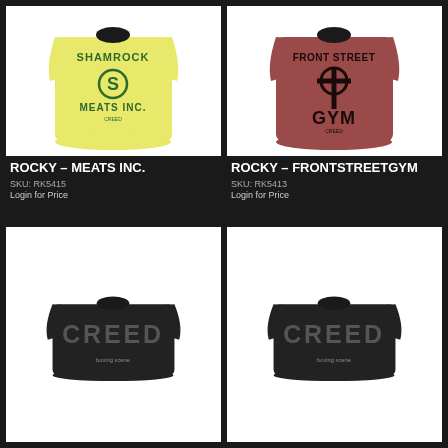[Figure (photo): Yellow t-shirt with Shamrock Meats Inc. logo from Rocky/Creed movie]
ROCKY – MEATS INC.
SKU: RK5415
Login for Price
[Figure (photo): Mauve/dark red t-shirt with Front Street Gym logo from Rocky/Creed movie]
ROCKY – FRONTSTREETGYM
SKU: RK5413
Login for Price
[Figure (photo): Black t-shirt with CREED movie logo and boxing scene imagery]
[Figure (photo): Black t-shirt with CREED movie logo and boxing scene imagery]